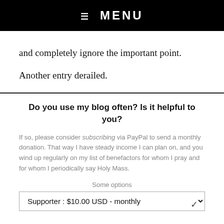☰ MENU
and completely ignore the important point.
Another entry derailed.
Do you use my blog often? Is it helpful to you?
If so, please consider subscribing via PayPal to send a monthly donation. That way I have steady income I can plan on, and you wind up regularly on my list of benefactors for whom I pray and for whom I periodically say Holy Mass.
Some options
Supporter : $10.00 USD - monthly
SUBSCRIBE